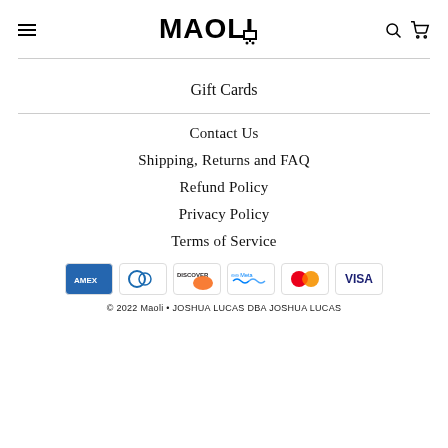MAOLI - navigation header with hamburger menu, logo, search and cart icons
Gift Cards
Contact Us
Shipping, Returns and FAQ
Refund Policy
Privacy Policy
Terms of Service
[Figure (other): Payment method icons: American Express, Diners Club, Discover, Meta Pay, Mastercard, Visa]
© 2022 Maoli • JOSHUA LUCAS DBA JOSHUA LUCAS